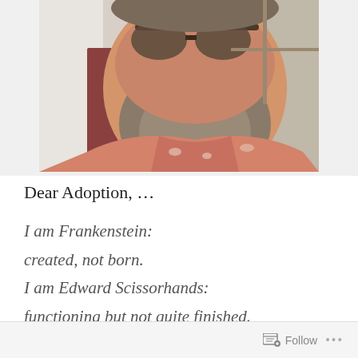[Figure (photo): A selfie-style close-up photo of a middle-aged man with a full beard and sunglasses, wearing a salmon/pink floral shirt, taken indoors near a window.]
Dear Adoption, ...
I am Frankenstein:
created, not born.
I am Edward Scissorhands:
functioning but not quite finished.
Follow ...